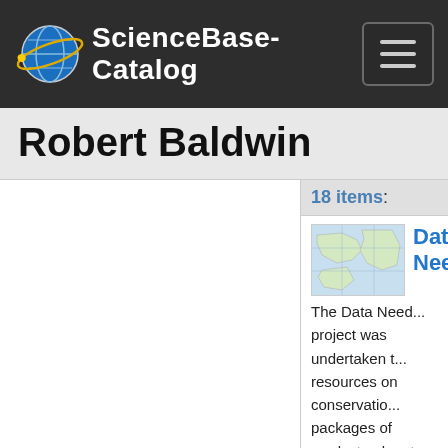ScienceBase-Catalog
Robert Baldwin
18 items:
[Figure (map): Small thumbnail map showing a geographic region with blue water areas and land masses]
Data Need...
The Data Need... project was undertaken t... resources on conservatio... packages of products, da... to improve conservation ... LCC. A suite of core cons... and data from principal i... University are now availa... Cooperative.“Deliverabl... include:An analysis of St... the Appalachian LCC tha... contained in these plans ... state and local-scale effo... conservation framework;... planning tools, describin...